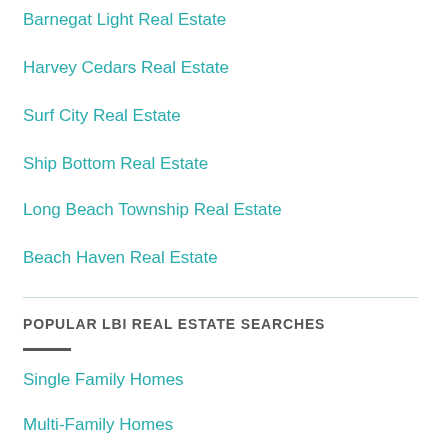Barnegat Light Real Estate
Harvey Cedars Real Estate
Surf City Real Estate
Ship Bottom Real Estate
Long Beach Township Real Estate
Beach Haven Real Estate
POPULAR LBI REAL ESTATE SEARCHES
Single Family Homes
Multi-Family Homes